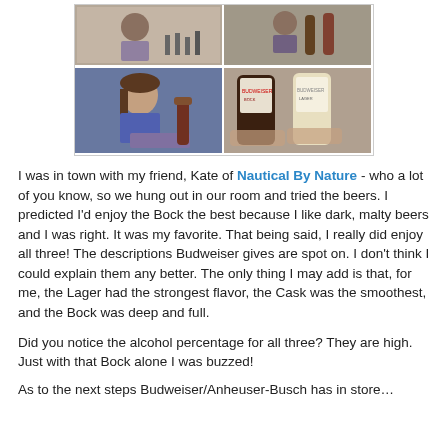[Figure (photo): Photo collage of a woman smiling with beer bottles, and close-up photos of large beer bottles being held.]
I was in town with my friend, Kate of Nautical By Nature - who a lot of you know, so we hung out in our room and tried the beers. I predicted I'd enjoy the Bock the best because I like dark, malty beers and I was right. It was my favorite. That being said, I really did enjoy all three! The descriptions Budweiser gives are spot on. I don't think I could explain them any better. The only thing I may add is that, for me, the Lager had the strongest flavor, the Cask was the smoothest, and the Bock was deep and full.
Did you notice the alcohol percentage for all three? They are high. Just with that Bock alone I was buzzed!